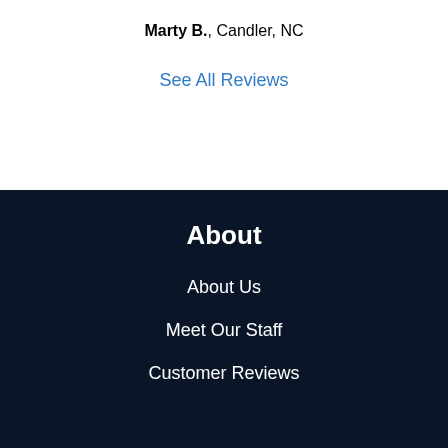Marty B., Candler, NC
See All Reviews
About
About Us
Meet Our Staff
Customer Reviews